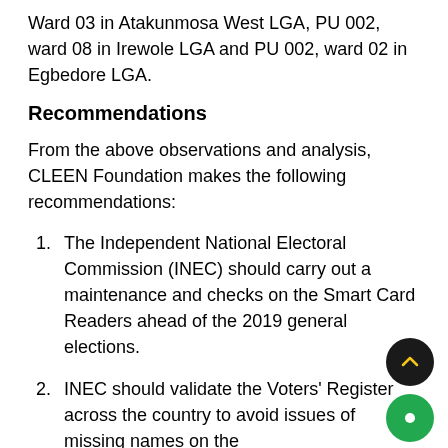Ward 03 in Atakunmosa West LGA, PU 002, ward 08 in Irewole LGA and PU 002, ward 02 in Egbedore LGA.
Recommendations
From the above observations and analysis, CLEEN Foundation makes the following recommendations:
1. The Independent National Electoral Commission (INEC) should carry out a maintenance and checks on the Smart Card Readers ahead of the 2019 general elections.
2. INEC should validate the Voters' Register across the country to avoid issues of missing names on the